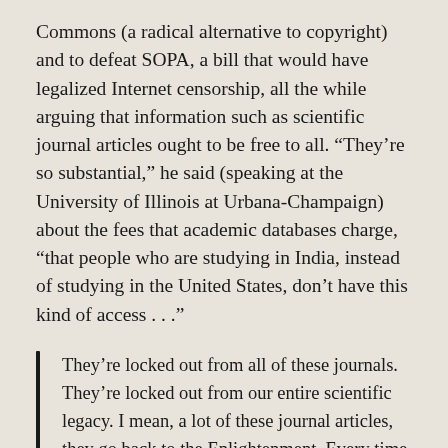Commons (a radical alternative to copyright) and to defeat SOPA, a bill that would have legalized Internet censorship, all the while arguing that information such as scientific journal articles ought to be free to all. “They’re so substantial,” he said (speaking at the University of Illinois at Urbana-Champaign) about the fees that academic databases charge, “that people who are studying in India, instead of studying in the United States, don’t have this kind of access . . .”
They’re locked out from all of these journals. They’re locked out from our entire scientific legacy. I mean, a lot of these journal articles, they go back to the Enlightenment. Every time someone has written … a scientific paper, it’s been scanned and digitized and